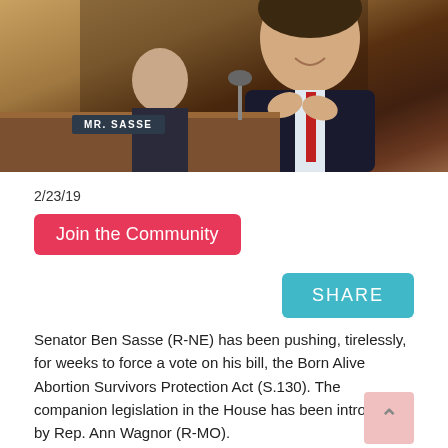[Figure (photo): Senator Ben Sasse smiling at a senate hearing, with a nameplate reading MR. SASSE in front of him, wooden podium background]
2/23/19
Join the Community
SHARE
Senator Ben Sasse (R-NE) has been pushing, tirelessly, for weeks to force a vote on his bill, the Born Alive Abortion Survivors Protection Act (S.130). The companion legislation in the House has been introduced by Rep. Ann Wagnor (R-MO).
The legislation is common sense. It does not ban abortion. It